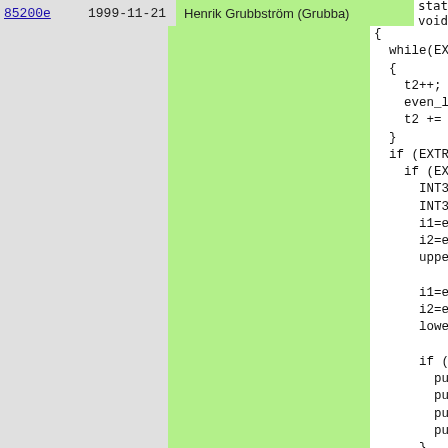85200e  1999-11-21  Henrik Grubbström (Grubba)
static void
{
  while(EXTR
  {
    t2++;
    even_lo
    t2 += ty
  }
  if (EXTRAC
    if (EXTR
      INT32
      INT32
      i1=ext
      i2=ext
      upper_

      i1=ext
      i2=ext
      lower_

      if (up
        push
        push
        push
        push
      }
    } else 
    push_u
    push_t
  }